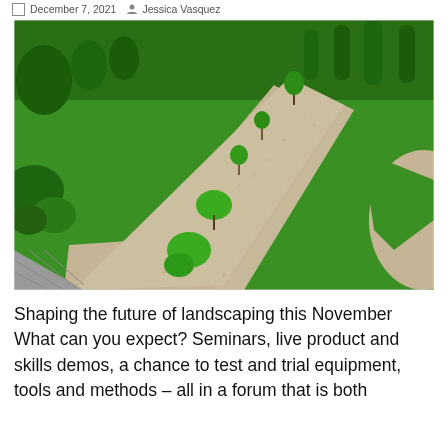December 7, 2021   Jessica Vasquez
[Figure (photo): Aerial view of a formal garden with lush green lawn, a winding gravel path planted with young trees and shrubs, shaped evergreen topiary in background, and a circular gravel feature on the right.]
Shaping the future of landscaping this November What can you expect? Seminars, live product and skills demos, a chance to test and trial equipment, tools and methods – all in a forum that is both familiar yet…